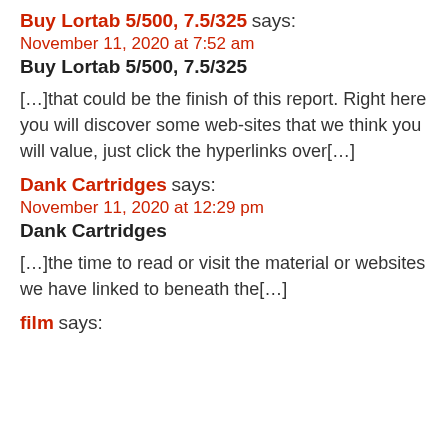Buy Lortab 5/500, 7.5/325 says:
November 11, 2020 at 7:52 am
Buy Lortab 5/500, 7.5/325
[…]that could be the finish of this report. Right here you will discover some web-sites that we think you will value, just click the hyperlinks over[…]
Dank Cartridges says:
November 11, 2020 at 12:29 pm
Dank Cartridges
[…]the time to read or visit the material or websites we have linked to beneath the[…]
film says: